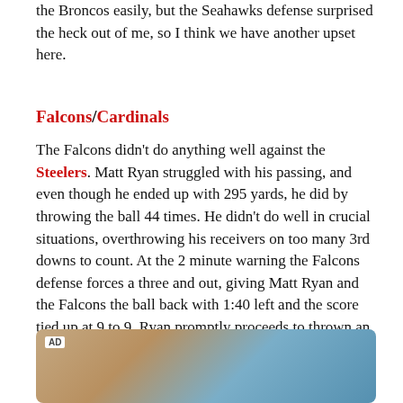the Broncos easily, but the Seahawks defense surprised the heck out of me, so I think we have another upset here.
Falcons/Cardinals
The Falcons didn't do anything well against the Steelers. Matt Ryan struggled with his passing, and even though he ended up with 295 yards, he did by throwing the ball 44 times. He didn't do well in crucial situations, overthrowing his receivers on too many 3rd downs to count. At the 2 minute warning the Falcons defense forces a three and out, giving Matt Ryan and the Falcons the ball back with 1:40 left and the score tied up at 9 to 9. Ryan promptly proceeds to thrown an interception to Troy Polamalu.
[Figure (photo): Advertisement image showing a close-up of a person wearing sports headphones against a blue background, with an AD label in the top-left corner.]